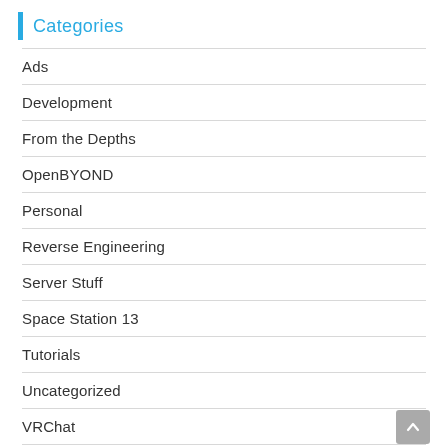Categories
Ads
Development
From the Depths
OpenBYOND
Personal
Reverse Engineering
Server Stuff
Space Station 13
Tutorials
Uncategorized
VRChat